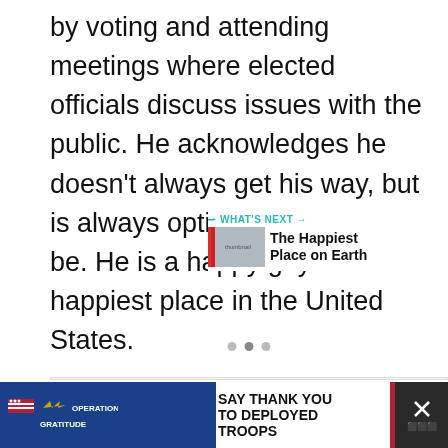by voting and attending meetings where elected officials discuss issues with the public. He acknowledges he doesn't always get his way, but is always optimistic. He should be. He is a happy guy in the happiest place in the United States.
[Figure (screenshot): Article image area with heart/like button (teal circle with heart icon), like count '2', share button (circle with share icon), and a 'WHAT'S NEXT' panel showing 'The Happiest Place on Earth' with a small thumbnail. Navigation dots visible at bottom of image.]
[Figure (infographic): Bottom advertisement bar: Operation Gratitude ad with American flag imagery on dark blue background, text 'SAY THANK YOU TO DEPLOYED TROOPS', cartoon soldier illustration, close button (X) on dark background.]